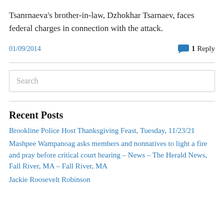Tsanrnaeva's brother-in-law, Dzhokhar Tsarnaev, faces federal charges in connection with the attack.
01/09/2014
1 Reply
Recent Posts
Brookline Police Host Thanksgiving Feast, Tuesday, 11/23/21
Mashpee Wampanoag asks members and nonnatives to light a fire and pray before critical court hearing – News – The Herald News, Fall River, MA – Fall River, MA
Jackie Roosevelt Robinson